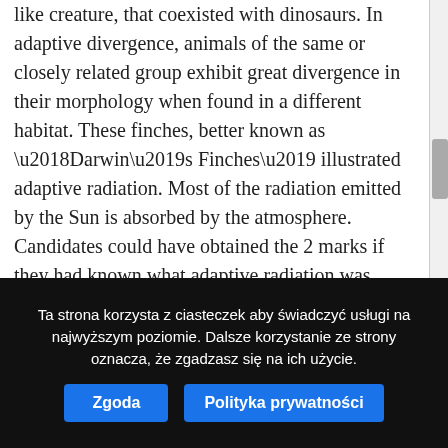like creature, that coexisted with dinosaurs. In adaptive divergence, animals of the same or closely related group exhibit great divergence in their morphology when found in a different habitat. These finches, better known as ‘Darwin’s Finches’ illustrated adaptive radiation. Most of the radiation emitted by the Sun is absorbed by the atmosphere. Candidates could have obtained the 2 marks if they had known what adaptive radiation was without any reference to pentadactyl limbs. Another example is of Hawaiian lobelioids. Corrections? Four features can be used to identify an adaptive radiation: A common ancestry of component species: Specifically, a recent ancestry. This article was most recently revised and updated by, https://www.britannica.com/science/adaptive-radiation.
Ta strona korzysta z ciasteczek aby świadczyć usługi na najwyższym poziomie. Dalsze korzystanie ze strony oznacza, że zgadzasz się na ich użycie.